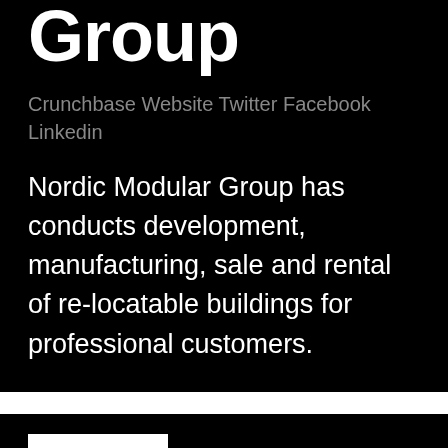Group
Crunchbase Website Twitter Facebook Linkedin
Nordic Modular Group has conducts development, manufacturing, sale and rental of re-locatable buildings for professional customers.
[Figure (other): White rectangle/logo placeholder on black background]